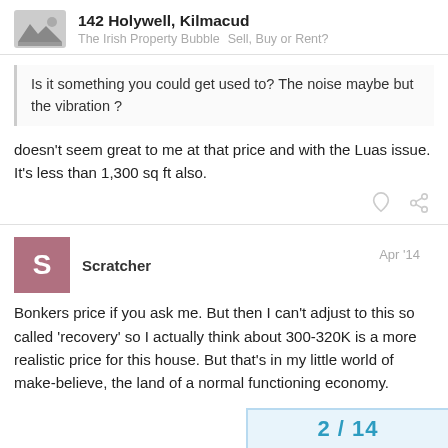142 Holywell, Kilmacud — The Irish Property Bubble   Sell, Buy or Rent?
Is it something you could get used to? The noise maybe but the vibration ?
doesn't seem great to me at that price and with the Luas issue. It's less than 1,300 sq ft also.
Scratcher   Apr '14
Bonkers price if you ask me. But then I can't adjust to this so called 'recovery' so I actually think about 300-320K is a more realistic price for this house. But that's in my little world of make-believe, the land of a normal functioning economy.
2 / 14